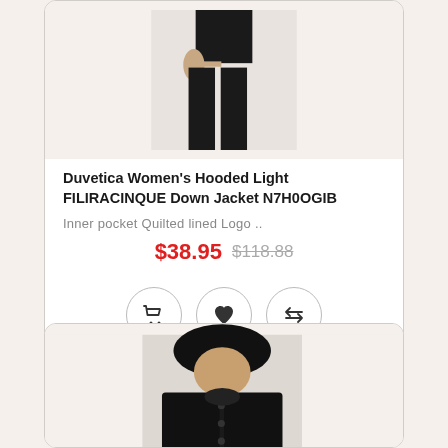[Figure (photo): Bottom half of a person wearing a black outfit, shown from waist down, standing against a light background]
Duvetica Women's Hooded Light FILIRACINQUE Down Jacket N7H0OGIB
Inner pocket Quilted lined Logo ..
$38.95  $118.88
[Figure (photo): Woman wearing a black hooded down jacket with snap buttons, front view, against a light background]